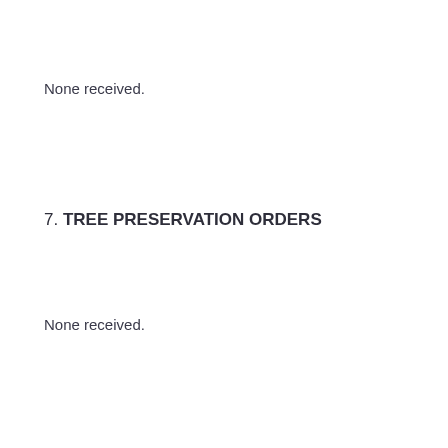None received.
7. TREE PRESERVATION ORDERS
None received.